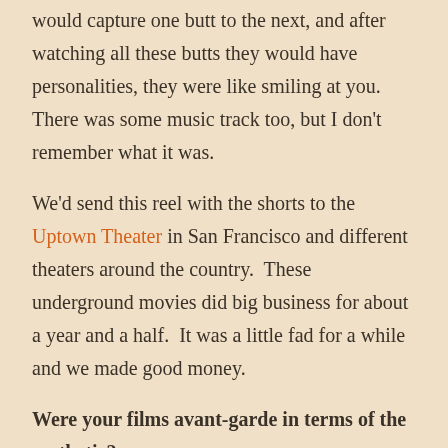would capture one butt to the next, and after watching all these butts they would have personalities, they were like smiling at you.  There was some music track too, but I don't remember what it was.
We'd send this reel with the shorts to the Uptown Theater in San Francisco and different theaters around the country.  These underground movies did big business for about a year and a half.  It was a little fad for a while and we made good money.
Were your films avant-garde in terms of the aesthetic?